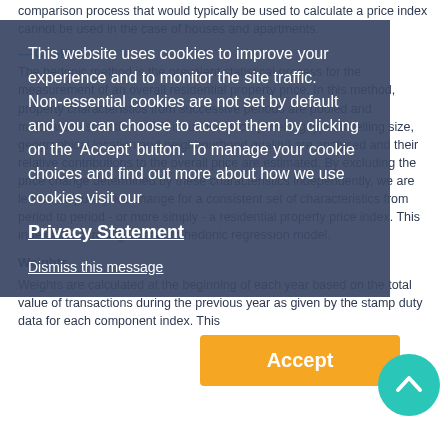comparison process that would typically be used to calculate a price index cannot be used in the case of houses and apartments.
Cookies
The hedonic method is the prevalent statistical process for the measurement of an overall residential property price. In this method, property characteristics from successive periods are pooled and multivariate statistics which influence price (dwelling type, dwelling size, geographical location and neighbourhood quality) are analysed and their relative contributions to the overall price are estimated. By excluding the price change determined by these characteristics independently, we are left with a pure price change for a consistent set of characteristics from period to period - or more simply - a residential property price index. This index uses a rolling 12 month hedonic regression model.
This website uses cookies to improve your experience and to monitor the site traffic.
Non-essential cookies are not set by default and you can choose to accept them by clicking on the 'Accept' button. To manage your cookie choices and find out more about how we use cookies visit our
Privacy Statement
Dismiss this message
Weights
Weights are calculated at the beginning of each year based on the total value of transactions during the previous year as given by the stamp duty data for each component index. This